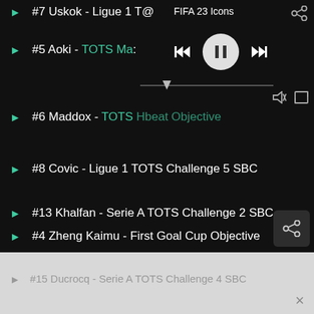#7 Uskok - Ligue 1 T...
FIFA 23 Icons
#5 Aoki - TOTS Ma...
#6 Maddox - TOTS Hbeat Objective
#8 Covic - Ligue 1 TOTS Challenge 5 SBC
#13 Khalfan - Serie A TOTS Challenge 2 SBC
#4 Zheng Kaimu - First Goal Cup Objective
#15 Ducrocq - Serie A TOTS Challenge 4 SBC